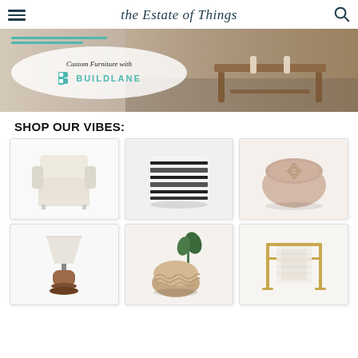the Estate of Things
[Figure (photo): Banner advertisement for Custom Furniture with Buildlane, showing a wooden bench on a rug background with teal logo and branding]
SHOP OUR VIBES:
[Figure (photo): White upholstered armchair with slipcovered skirted base]
[Figure (photo): Square pouf with black and white horizontal stripe pattern]
[Figure (photo): Square pink/blush Moroccan pouf with geometric embroidered pattern]
[Figure (photo): Floor lamp with white drum shade and brown wooden base]
[Figure (photo): Natural woven/knitted round pouf with plant in background]
[Figure (photo): Gold/brass clothing rack with white textile hanging]